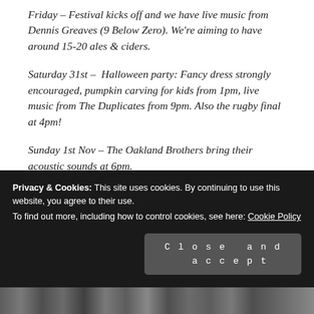Friday – Festival kicks off and we have live music from Dennis Greaves (9 Below Zero). We're aiming to have around 15-20 ales & ciders.
Saturday 31st – Halloween party: Fancy dress strongly encouraged, pumpkin carving for kids from 1pm, live music from The Duplicates from 9pm. Also the rugby final at 4pm!
Sunday 1st Nov – The Oakland Brothers bring their acoustic sounds at 6pm.
Privacy & Cookies: This site uses cookies. By continuing to use this website, you agree to their use.
To find out more, including how to control cookies, see here: Cookie Policy
Close and accept